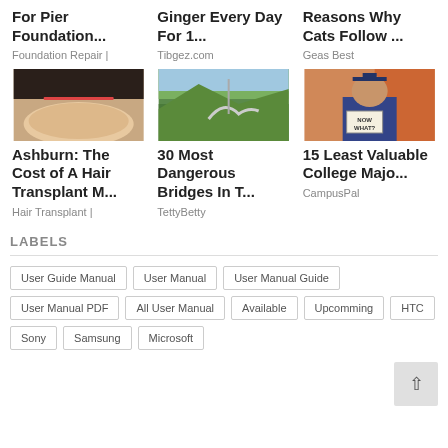For Pier Foundation...
Foundation Repair |
Ginger Every Day For 1...
Tibgez.com
Reasons Why Cats Follow ...
Geas Best
[Figure (photo): Close-up of a person's forehead with a small cut or scratch]
Ashburn: The Cost of A Hair Transplant M...
Hair Transplant |
[Figure (photo): Aerial view of a winding sky bridge over green forested mountains]
30 Most Dangerous Bridges In T...
TettyBetty
[Figure (photo): Female graduate in blue cap and gown holding a sign saying 'Now What?']
15 Least Valuable College Majo...
CampusPal
LABELS
User Guide Manual
User Manual
User Manual Guide
User Manual PDF
All User Manual
Available
Upcomming
HTC
Sony
Samsung
Microsoft